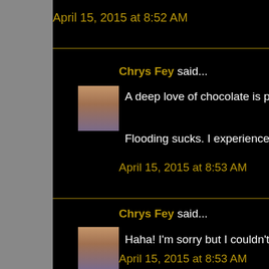April 15, 2015 at 8:52 AM
Chrys Fey said...
A deep love of chocolate is probab
Flooding sucks. I experience that w
April 15, 2015 at 8:53 AM
Chrys Fey said...
Haha! I'm sorry but I couldn't help b
April 15, 2015 at 8:53 AM